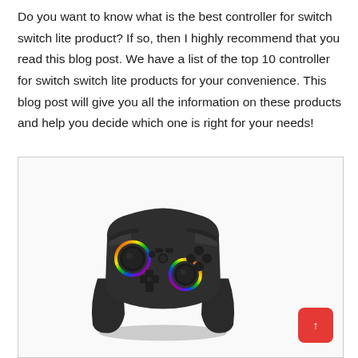Do you want to know what is the best controller for switch switch lite product? If so, then I highly recommend that you read this blog post. We have a list of the top 10 controller for switch switch lite products for your convenience. This blog post will give you all the information on these products and help you decide which one is right for your needs!
[Figure (photo): A black gaming controller with RGB lighting rings around the analog sticks, resembling a Nintendo Switch Pro Controller style gamepad, shown on a white/light grey background inside a bordered box. A red scroll-to-top button with an upward arrow is visible in the bottom-right corner.]